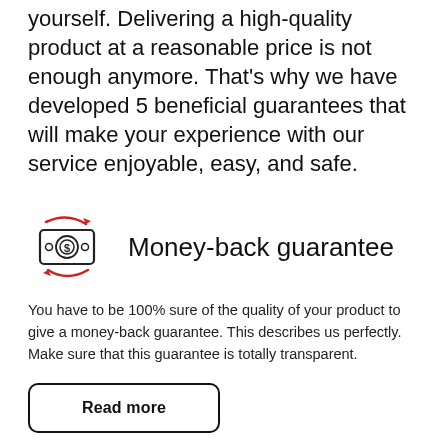yourself. Delivering a high-quality product at a reasonable price is not enough anymore. That's why we have developed 5 beneficial guarantees that will make your experience with our service enjoyable, easy, and safe.
[Figure (illustration): Money-back guarantee icon: a stylized banknote with dollar sign inside a rounded rectangle, with red curved arrows indicating a circular/return motion above and below the icon.]
Money-back guarantee
You have to be 100% sure of the quality of your product to give a money-back guarantee. This describes us perfectly. Make sure that this guarantee is totally transparent.
Read more